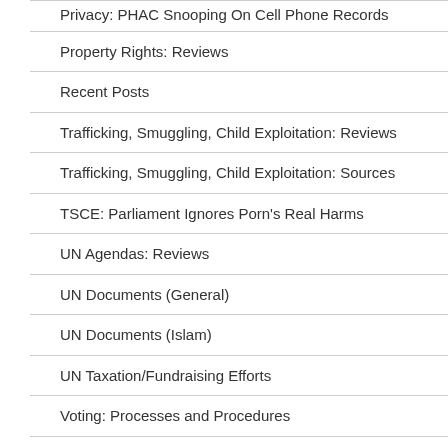Privacy: PHAC Snooping On Cell Phone Records
Property Rights: Reviews
Recent Posts
Trafficking, Smuggling, Child Exploitation: Reviews
Trafficking, Smuggling, Child Exploitation: Sources
TSCE: Parliament Ignores Porn's Real Harms
UN Agendas: Reviews
UN Documents (General)
UN Documents (Islam)
UN Taxation/Fundraising Efforts
Voting: Processes and Procedures